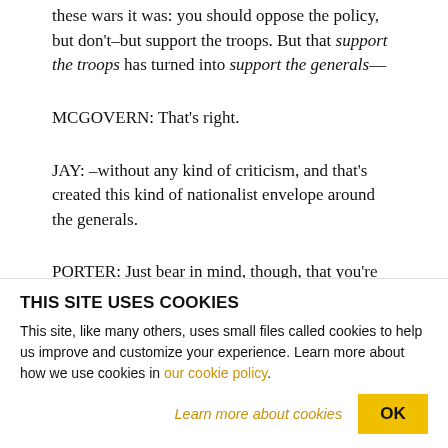these wars it was: you should oppose the policy, but don't–but support the troops. But that support the troops has turned into support the generals—
MCGOVERN: That's right.
JAY: –without any kind of criticism, and that's created this kind of nationalist envelope around the generals.
PORTER: Just bear in mind, though, that you're
THIS SITE USES COOKIES
This site, like many others, uses small files called cookies to help us improve and customize your experience. Learn more about how we use cookies in our cookie policy.
Learn more about cookies
OK